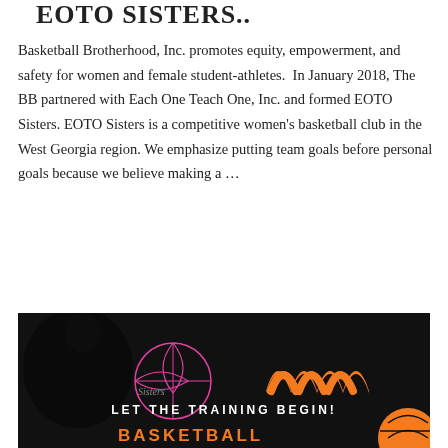EOTO SISTERS..
Basketball Brotherhood, Inc. promotes equity, empowerment, and safety for women and female student-athletes. In January 2018, The BB partnered with Each One Teach One, Inc. and formed EOTO Sisters. EOTO Sisters is a competitive women's basketball club in the West Georgia region. We emphasize putting team goals before personal goals because we believe making a …
CONTINUE READING
[Figure (photo): Dark background promotional image with basketball graphic on left, orange wave/logo shape on right, white bold text 'LET THE TRAINING BEGIN!' in center bottom, and orange text 'BASKETBALL' partially visible at very bottom.]